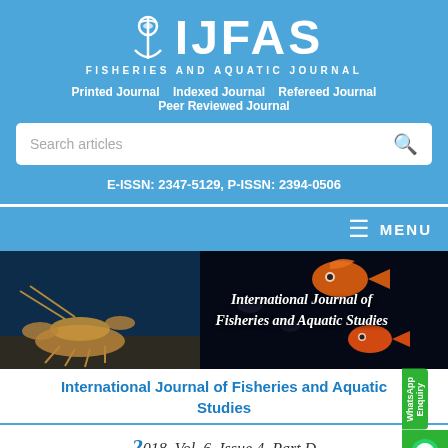IJFAS FISHERIES AND AQUATIC JOURNAL
Printed Journal   Indexed Journal   Refereed Journal   Peer Reviewed Journal
Search articles
E-ISSN: 2347-5129, P-ISSN: 2394-0506
MENU
[Figure (photo): Banner image showing lobster and orange fish on dark background with text International Journal of Fisheries and Aquatic Studies]
International Journal of Fisheries and Aquatic Studies
2018, Vol. 6, Issue 4, Part D